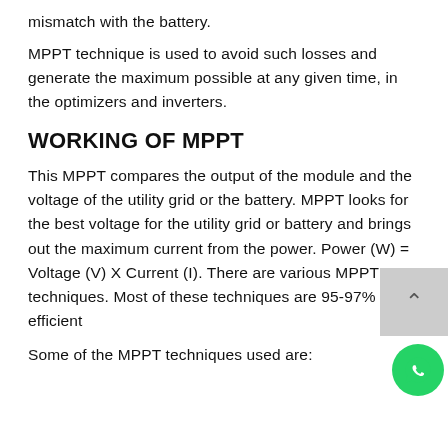mismatch with the battery.
MPPT technique is used to avoid such losses and generate the maximum possible at any given time, in the optimizers and inverters.
WORKING OF MPPT
This MPPT compares the output of the module and the voltage of the utility grid or the battery. MPPT looks for the best voltage for the utility grid or battery and brings out the maximum current from the power. Power (W) = Voltage (V) X Current (I). There are various MPPT techniques. Most of these techniques are 95-97% efficient
Some of the MPPT techniques used are: